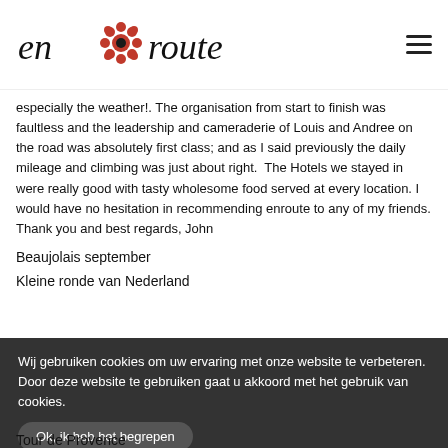en route
especially the weather!. The organisation from start to finish was faultless and the leadership and cameraderie of Louis and Andree on the road was absolutely first class; and as I said previously the daily mileage and climbing was just about right. The Hotels we stayed in were really good with tasty wholesome food served at every location. I would have no hesitation in recommending enroute to any of my friends. Thank you and best regards, John
Beaujolais september
Kleine ronde van Nederland
Wij gebruiken cookies om uw ervaring met onze website te verbeteren. Door deze website te gebruiken gaat u akkoord met het gebruik van cookies.
Ok, ik heb het begrepen
Tour de Provence